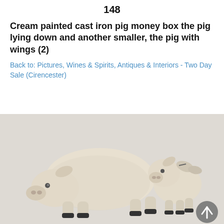148
Cream painted cast iron pig money box the pig lying down and another smaller, the pig with wings (2)
Back to: Pictures, Wines & Spirits, Antiques & Interiors - Two Day Sale (Cirencester)
[Figure (photo): Two cream painted cast iron pig money boxes on a light grey background. The larger pig is lying down on the left, and a smaller pig with wings stands on the right. Both have black hooves.]